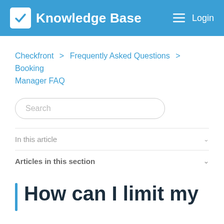Knowledge Base  Login
Checkfront > Frequently Asked Questions > Booking Manager FAQ
Search
In this article
Articles in this section
How can I limit my